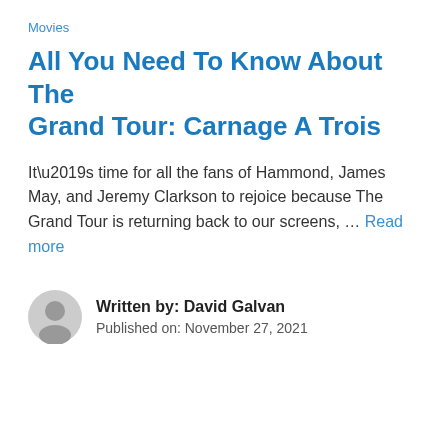Movies
All You Need To Know About The Grand Tour: Carnage A Trois
It’s time for all the fans of Hammond, James May, and Jeremy Clarkson to rejoice because The Grand Tour is returning back to our screens, … Read more
Written by: David Galvan
Published on: November 27, 2021